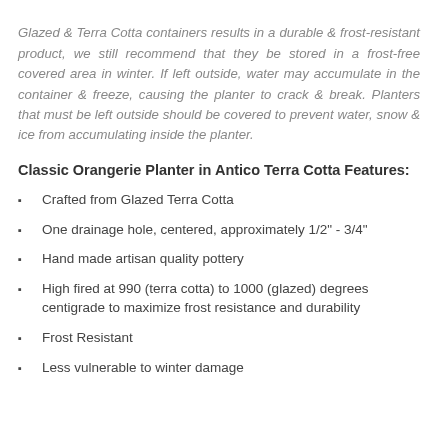Glazed & Terra Cotta containers results in a durable & frost-resistant product, we still recommend that they be stored in a frost-free covered area in winter. If left outside, water may accumulate in the container & freeze, causing the planter to crack & break. Planters that must be left outside should be covered to prevent water, snow & ice from accumulating inside the planter.
Classic Orangerie Planter in Antico Terra Cotta Features:
Crafted from Glazed Terra Cotta
One drainage hole, centered, approximately 1/2" - 3/4"
Hand made artisan quality pottery
High fired at 990 (terra cotta) to 1000 (glazed) degrees centigrade to maximize frost resistance and durability
Frost Resistant
Less vulnerable to winter damage